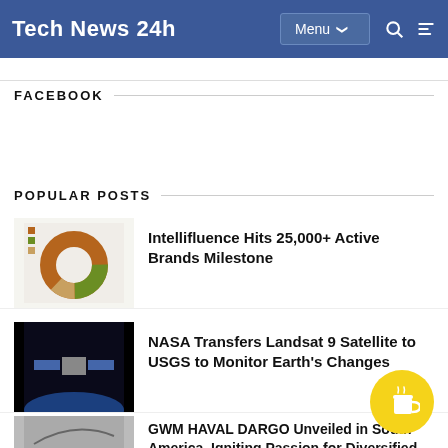Tech News 24h
FACEBOOK
POPULAR POSTS
Intellifluence Hits 25,000+ Active Brands Milestone
NASA Transfers Landsat 9 Satellite to USGS to Monitor Earth's Changes
GWM HAVAL DARGO Unveiled in South America, Igniting Passion for Diversified Driving